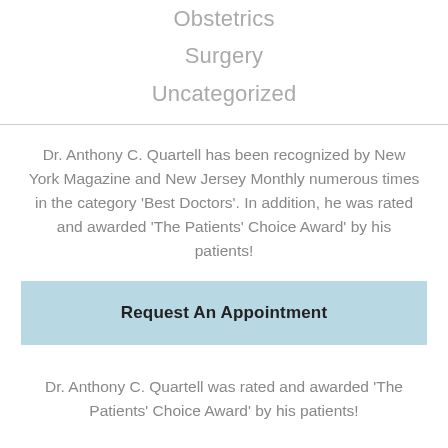Obstetrics
Surgery
Uncategorized
Dr. Anthony C. Quartell has been recognized by New York Magazine and New Jersey Monthly numerous times in the category ‘Best Doctors’. In addition, he was rated and awarded ‘The Patients’ Choice Award’ by his patients!
Request An Appointment
Dr. Anthony C. Quartell was rated and awarded ‘The Patients’ Choice Award’ by his patients!